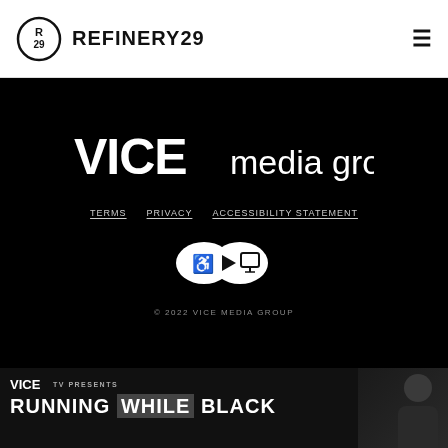REFINERY29
[Figure (logo): VICE media group white logo on black background]
TERMS   PRIVACY   ACCESSIBILITY STATEMENT
[Figure (logo): Accessibility badge with wheelchair, play, and screen icons in white ovals on black]
© 2022 VICE MEDIA GROUP
[Figure (screenshot): VICE TV Presents RUNNING WHILE BLACK ad banner with person in background]